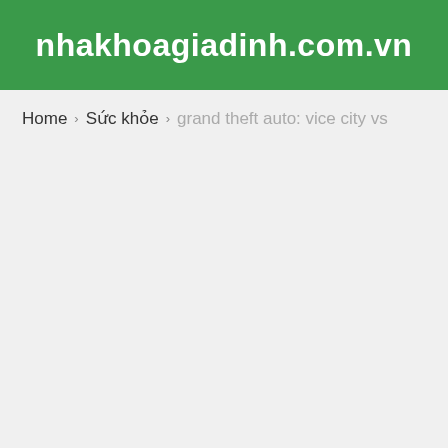nhakhoagiadinh.com.vn
Home › Sức khỏe › grand theft auto: vice city vs